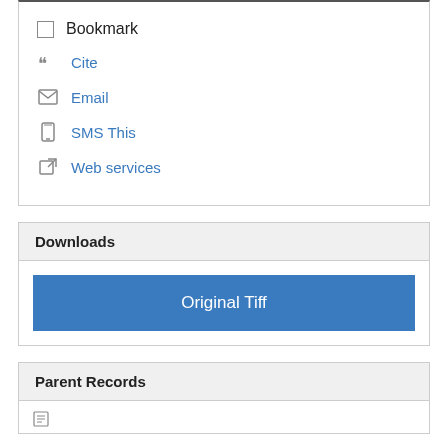Bookmark
Cite
Email
SMS This
Web services
Downloads
Original Tiff
Parent Records